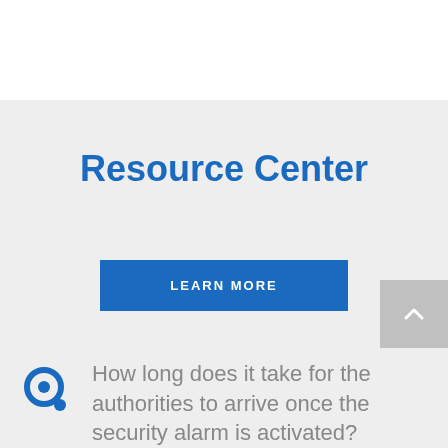Resource Center
LEARN MORE
How long does it take for the authorities to arrive once the security alarm is activated?